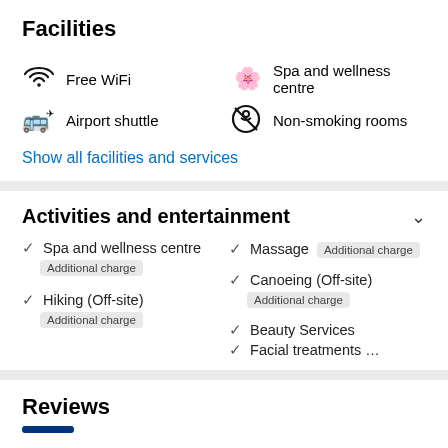Facilities
Free WiFi
Airport shuttle
Spa and wellness centre
Non-smoking rooms
Show all facilities and services
Activities and entertainment
Spa and wellness centre – Additional charge
Massage – Additional charge
Canoeing (Off-site) – Additional charge
Hiking (Off-site) – Additional charge
Beauty Services
Facial treatments …
Reviews